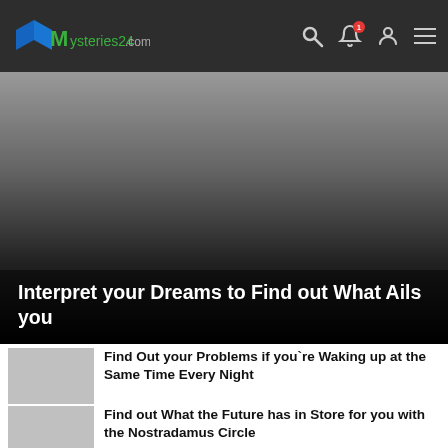Mysteries24.com
[Figure (photo): Hero image with gradient overlay (dark to black) behind article title text on Mysteries24.com website. Title reads: Interpret your Dreams to Find out What Ails you]
Interpret your Dreams to Find out What Ails you
Find Out your Problems if you`re Waking up at the Same Time Every Night
Find out What the Future has in Store for you with the Nostradamus Circle